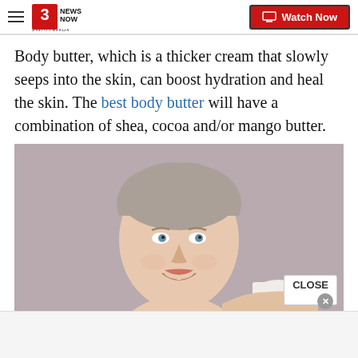3 News Now KMTV Omaha | Watch Now
Body butter, which is a thicker cream that slowly seeps into the skin, can boost hydration and heal the skin. The best body butter will have a combination of shea, cocoa and/or mango butter.
[Figure (photo): Middle-aged woman with slicked-back blonde hair smiling, holding a white jar of cream near her bare shoulder, against a mauve/taupe background]